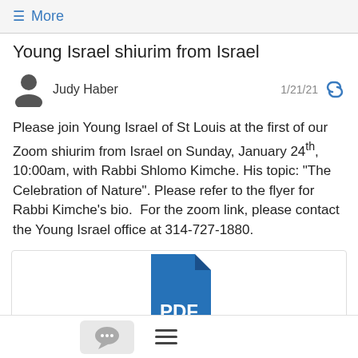≡ More
Young Israel shiurim from Israel
Judy Haber  1/21/21
Please join Young Israel of St Louis at the first of our Zoom shiurim from Israel on Sunday, January 24th, 10:00am, with Rabbi Shlomo Kimche. His topic: "The Celebration of Nature". Please refer to the flyer for Rabbi Kimche's bio.  For the zoom link, please contact the Young Israel office at 314-727-1880.
[Figure (other): PDF file attachment icon with text 'PDF' on a blue document icon]